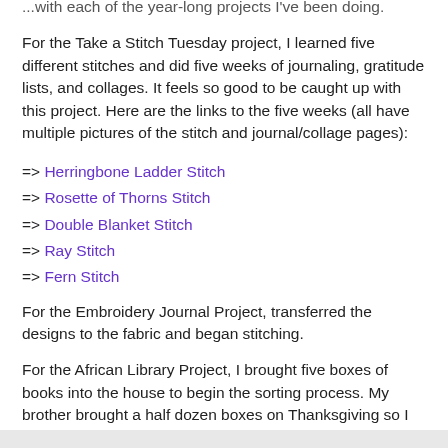...with each of the year-long projects I've been doing.
For the Take a Stitch Tuesday project, I learned five different stitches and did five weeks of journaling, gratitude lists, and collages. It feels so good to be caught up with this project. Here are the links to the five weeks (all have multiple pictures of the stitch and journal/collage pages):
=> Herringbone Ladder Stitch
=> Rosette of Thorns Stitch
=> Double Blanket Stitch
=> Ray Stitch
=> Fern Stitch
For the Embroidery Journal Project, transferred the designs to the fabric and began stitching.
For the African Library Project, I brought five boxes of books into the house to begin the sorting process. My brother brought a half dozen boxes on Thanksgiving so I can pack books that are in plastic tubs into boxes for shipping.